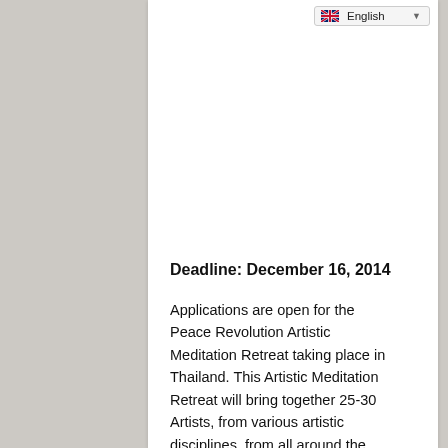English
Deadline: December 16, 2014
Applications are open for the Peace Revolution Artistic Meditation Retreat taking place in Thailand. This Artistic Meditation Retreat will bring together 25-30 Artists, from various artistic disciplines, from all around the world, for a two week period of Artistic Creation and Meditation at a beautiful sanctuary and...